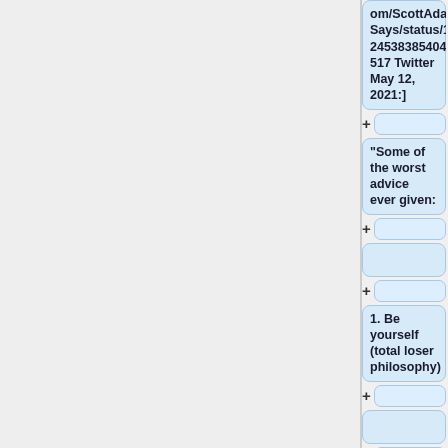[...twitter.com/ScottAdamsSays/status/1392453838540480517 Twitter May 12, 2021:]
"Some of the worst advice ever given:
1. Be yourself (total loser philosophy)
2. Follow the science (as if you could)